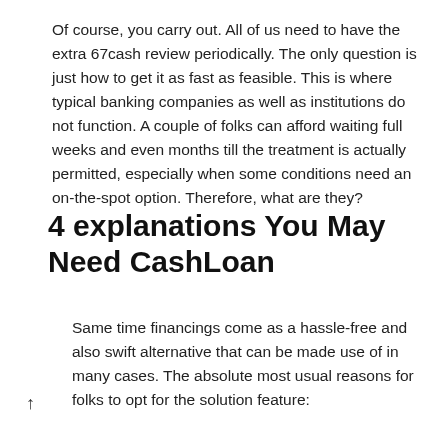Of course, you carry out. All of us need to have the extra 67cash review periodically. The only question is just how to get it as fast as feasible. This is where typical banking companies as well as institutions do not function. A couple of folks can afford waiting full weeks and even months till the treatment is actually permitted, especially when some conditions need an on-the-spot option. Therefore, what are they?
4 explanations You May Need CashLoan
Same time financings come as a hassle-free and also swift alternative that can be made use of in many cases. The absolute most usual reasons for folks to opt for the solution feature: